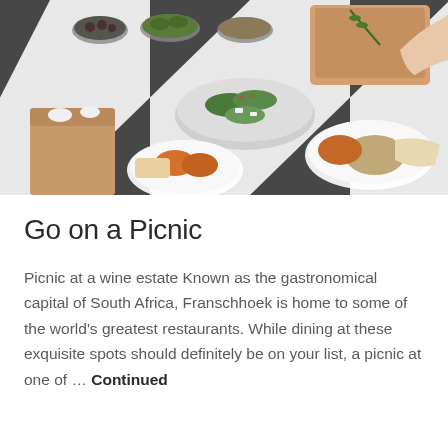[Figure (photo): Overhead view of a picnic spread on a black-and-white striped tablecloth with various foods: bowls of olives, herbs, seeds, salads with greens and feta, plates with roasted vegetables including squash, a paper bag with wrapped candies, meats, bread, grains, and a person's hand arranging food.]
Go on a Picnic
Picnic at a wine estate Known as the gastronomical capital of South Africa, Franschhoek is home to some of the world's greatest restaurants. While dining at these exquisite spots should definitely be on your list, a picnic at one of … Continued